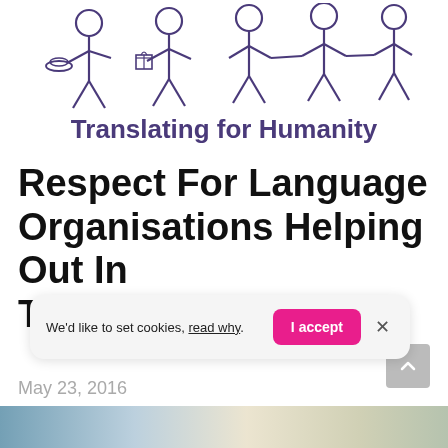[Figure (logo): Translating for Humanity logo: stick figures with items (plate of food, gift box, holding hands), with text 'Translating for Humanity' in purple below]
Respect For Language Organisations Helping Out In T
We'd like to set cookies, read why.  I accept  ×
May 23, 2016
[Figure (photo): Bottom strip showing partial photo of an indoor scene, partially visible]